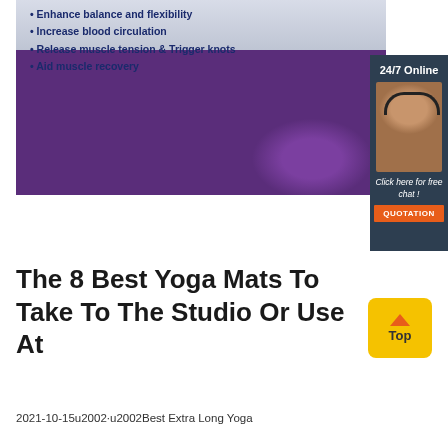[Figure (photo): Product advertisement image showing a person using a purple foam roller on a yoga mat, with bullet points listing benefits. Adjacent dark panel shows a customer service agent with '24/7 Online' text and a 'QUOTATION' button.]
Enhance balance and flexibility
Increase blood circulation
Release muscle tension & Trigger knots
Aid muscle recovery
The 8 Best Yoga Mats To Take To The Studio Or Use At
2021-10-15u2002·u2002Best Extra Long Yoga